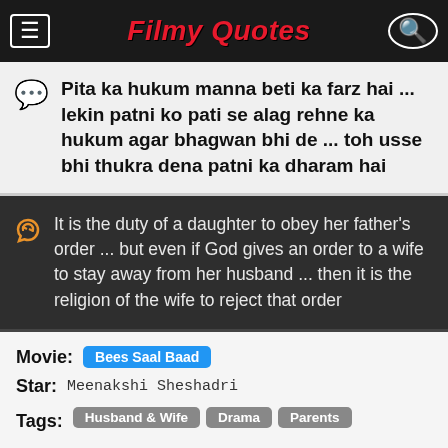Filmy Quotes
Pita ka hukum manna beti ka farz hai ... lekin patni ko pati se alag rehne ka hukum agar bhagwan bhi de ... toh usse bhi thukra dena patni ka dharam hai
It is the duty of a daughter to obey her father's order ... but even if God gives an order to a wife to stay away from her husband ... then it is the religion of the wife to reject that order
Movie: Bees Saal Baad
Star: Meenakshi Sheshadri
Tags: Husband & Wife, Drama, Parents